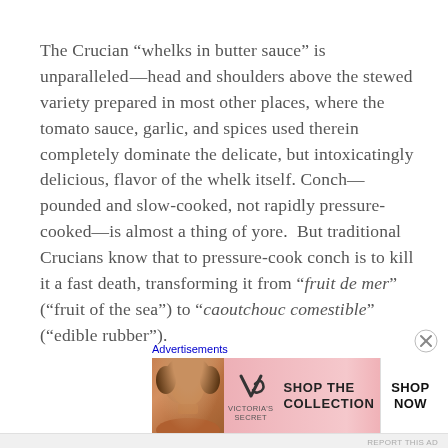The Crucian “whelks in butter sauce” is unparalleled—head and shoulders above the stewed variety prepared in most other places, where the tomato sauce, garlic, and spices used therein completely dominate the delicate, but intoxicatingly delicious, flavor of the whelk itself. Conch—pounded and slow-cooked, not rapidly pressure-cooked—is almost a thing of yore.  But traditional Crucians know that to pressure-cook conch is to kill it a fast death, transforming it from “fruit de mer” (“fruit of the sea”) to “caoutchouc comestible” (“edible rubber”).
Advertisements
[Figure (other): Victoria's Secret advertisement banner showing a woman's face, VS logo, 'SHOP THE COLLECTION' text, and a 'SHOP NOW' button.]